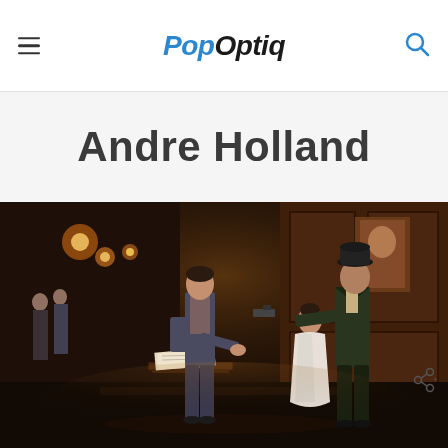PopOptiq — navigation header with menu icon, logo, and search icon
Andre Holland
[Figure (photo): A period drama scene showing three actors in early 20th century costume in an ornate room. On the right, a man in a dark suit and bowler hat points a gun at another man on the left who stands near a table with papers. In the background stands a woman in a white dress. The setting appears to be an elegant Victorian-era interior with wood paneling and warm lighting.]